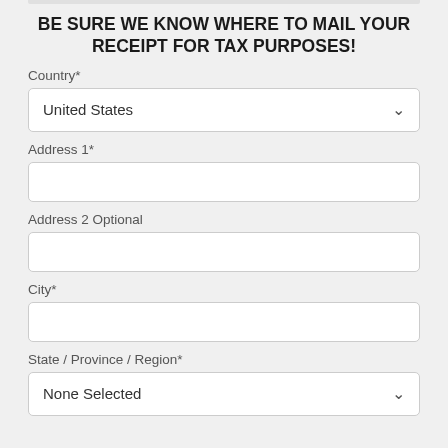BE SURE WE KNOW WHERE TO MAIL YOUR RECEIPT FOR TAX PURPOSES!
Country*
United States
Address 1*
Address 2 Optional
City*
State / Province / Region*
None Selected